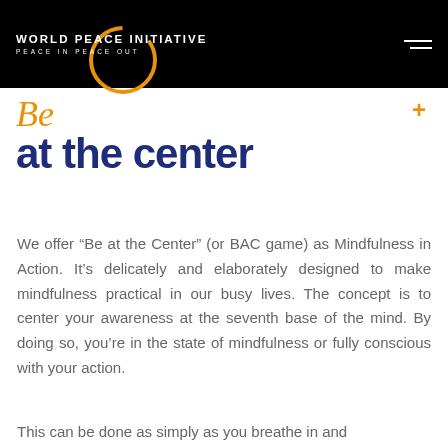WORLD PEACE INITIATIVE PEACE IN PEACE OUT
Be at the center
We offer “Be at the Center” (or BAC game) as Mindfulness in Action. It’s delicately and elaborately designed to make mindfulness practical in our busy lives. The concept is to center your awareness at the seventh base of the mind. By doing so, you’re in the state of mindfulness or fully conscious with your action.
This can be done as simply as you breathe in and